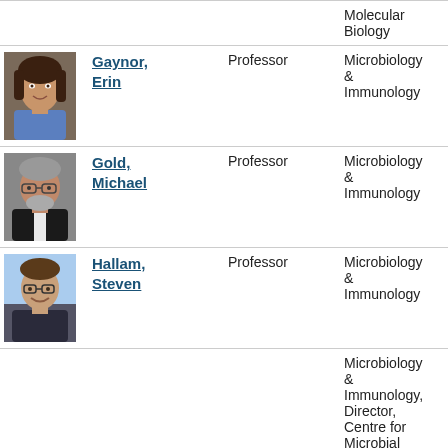Molecular Biology
[Figure (photo): Headshot of Gaynor, Erin - woman with long dark hair, blue top]
Gaynor, Erin
Professor
Microbiology & Immunology
[Figure (photo): Headshot of Gold, Michael - man with glasses and beard, dark suit]
Gold, Michael
Professor
Microbiology & Immunology
[Figure (photo): Headshot of Hallam, Steven - man with glasses, smiling outdoors]
Hallam, Steven
Professor
Microbiology & Immunology
Microbiology & Immunology, Director, Centre for Microbial Diseases
[Figure (photo): Headshot of Hancock, Bob - older man, blue shirt]
Hancock, Bob
Professor; Canada Research Chair
Microbiology & Immunology, Director, Centre for Microbial Diseases